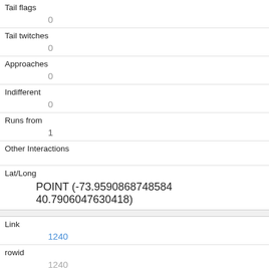| Tail flags | 0 |
| Tail twitches | 0 |
| Approaches | 0 |
| Indifferent | 0 |
| Runs from | 1 |
| Other Interactions |  |
| Lat/Long | POINT (-73.9590868748584 40.7906047630418) |
| Link | 1240 |
| rowid | 1240 |
| longitude |  |